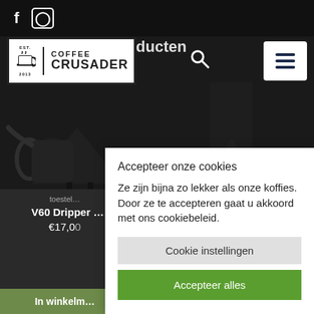[Figure (screenshot): Top navigation bar with Facebook and Instagram social icons on dark background]
Gerelateerde producten
[Figure (logo): Coffee Crusader logo - white box with coffee cup icon, EST 2013, and COFFEE CRUSADER text]
[Figure (screenshot): Coffee equipment product photography (V60 drippers, pour-over equipment) on dark background]
toestel
V60 Dripper
€17,00
In winkelm
Accepteer onze cookies
Ze zijn bijna zo lekker als onze koffies. Door ze te accepteren gaat u akkoord met ons cookiebeleid.
Cookie instellingen
Accepteer alles